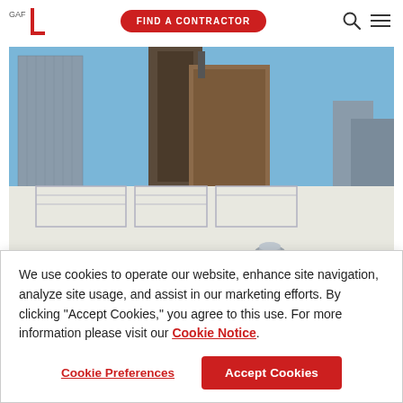GAF logo | FIND A CONTRACTOR | Search | Menu
[Figure (photo): Aerial view of a white flat commercial rooftop with HVAC units and city skyline in the background. A small 'President's' watermark is visible in the bottom right corner.]
We use cookies to operate our website, enhance site navigation, analyze site usage, and assist in our marketing efforts. By clicking "Accept Cookies," you agree to this use. For more information please visit our Cookie Notice.
Cookie Preferences
Accept Cookies